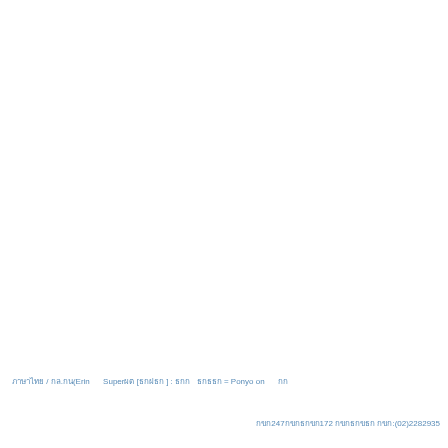ภาษาไทย / กล.กน(Erin      Superผต [ธกฝธก ] : ธกก  ธกธธก = Ponyo on      กก
กขก247กขกธกขก172 กขกธกขธก กขก:(02)2282935